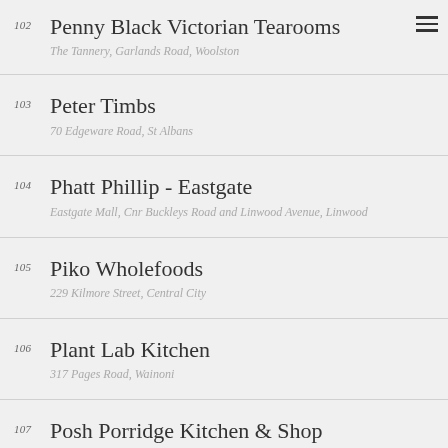102 Penny Black Victorian Tearooms
The Tannery, Garlands Road, Woolston
103 Peter Timbs
70 Edgeware Road, St Albans
104 Phatt Phillip - Eastgate
Eastgate Mall, Cnr Buckleys Road and Linwood Avenue, Linwood
105 Piko Wholefoods
229 Kilmore Street, Central City
106 Plant Lab Kitchen
317 Pages Road, Wainoni
107 Posh Porridge Kitchen & Shop
1/388 Montreal Street, Central City
108 (partial — name cut off)